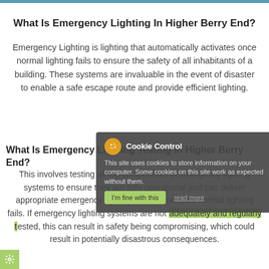What Is Emergency Lighting In Higher Berry End?
Emergency Lighting is lighting that automatically activates once normal lighting fails to ensure the safety of all inhabitants of a building. These systems are invaluable in the event of disaster to enable a safe escape route and provide efficient lighting.
What Is Emergency Lighting Testing In Higher Berry End?
This involves testing all the components of emergency lighting systems to ensure they are fully operational and can deliver appropriate emergency lighting on demand once normal lighting fails. If emergency lighting systems are not adequately and regularly tested, this can result in safety being compromising, which could result in potentially disastrous consequences.